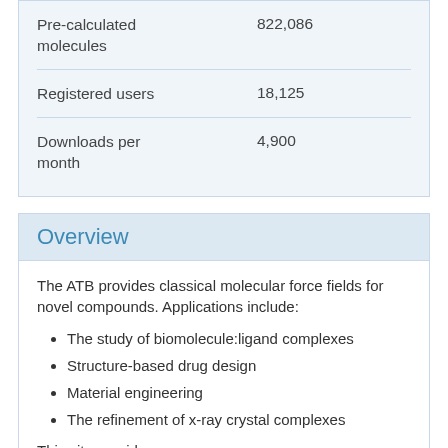| Metric | Value |
| --- | --- |
| Pre-calculated molecules | 822,086 |
| Registered users | 18,125 |
| Downloads per month | 4,900 |
Overview
The ATB provides classical molecular force fields for novel compounds. Applications include:
The study of biomolecule:ligand complexes
Structure-based drug design
Material engineering
The refinement of x-ray crystal complexes
This site provides:
Access to classical force fields in formats compatible